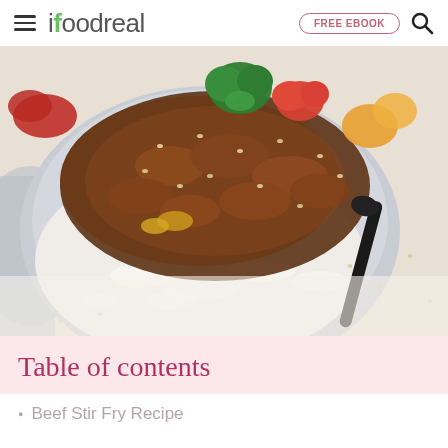ifoodreal | FREE EBOOK
[Figure (photo): Close-up photo of a beef stir fry dish served over white rice in a gray bowl, garnished with sesame seeds, with broccoli, red peppers, and orange peppers visible, alongside a dark spoon on a white background with scattered sesame seeds.]
Table of contents
Beef Stir Fry Recipe